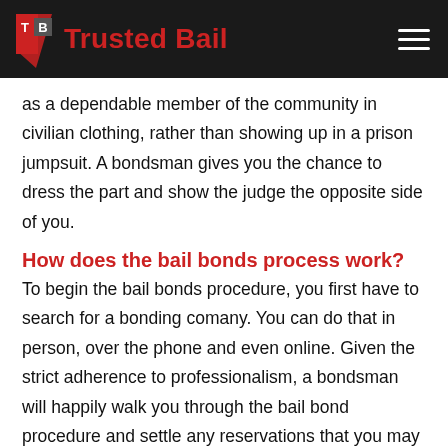Trusted Bail
as a dependable member of the community in civilian clothing, rather than showing up in a prison jumpsuit. A bondsman gives you the chance to dress the part and show the judge the opposite side of you.
How does the bail bonds process work?
To begin the bail bonds procedure, you first have to search for a bonding comany. You can do that in person, over the phone and even online. Given the strict adherence to professionalism, a bondsman will happily walk you through the bail bond procedure and settle any reservations that you may have.